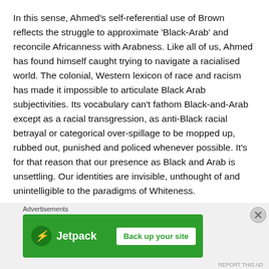In this sense, Ahmed's self-referential use of Brown reflects the struggle to approximate 'Black-Arab' and reconcile Africanness with Arabness. Like all of us, Ahmed has found himself caught trying to navigate a racialised world. The colonial, Western lexicon of race and racism has made it impossible to articulate Black Arab subjectivities. Its vocabulary can't fathom Black-and-Arab except as a racial transgression, as anti-Black racial betrayal or categorical over-spillage to be mopped up, rubbed out, punished and policed whenever possible. It's for that reason that our presence as Black and Arab is unsettling. Our identities are invisible, unthought of and unintelligible to the paradigms of Whiteness.
Advertisements
[Figure (other): Jetpack advertisement banner with green background showing the Jetpack logo and a 'Back up your site' button]